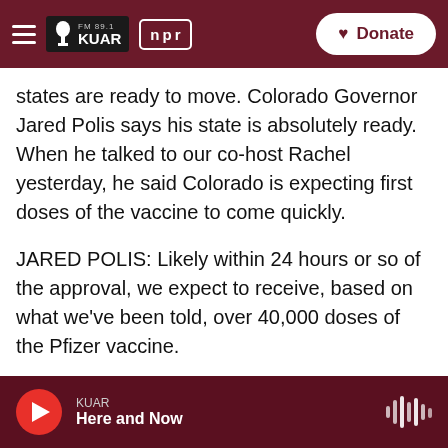FM 89.1 KUAR | npr | Donate
states are ready to move. Colorado Governor Jared Polis says his state is absolutely ready. When he talked to our co-host Rachel yesterday, he said Colorado is expecting first doses of the vaccine to come quickly.
JARED POLIS: Likely within 24 hours or so of the approval, we expect to receive, based on what we've been told, over 40,000 doses of the Pfizer vaccine.
RACHEL MARTIN, BYLINE: Where's it going? Who's getting it?
KUAR Here and Now